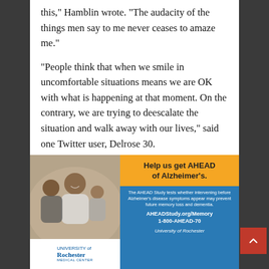this," Hamblin wrote. "The audacity of the things men say to me never ceases to amaze me."
"People think that when we smile in uncomfortable situations means we are OK with what is happening at that moment. On the contrary, we are trying to deescalate the situation and walk away with our lives," said one Twitter user, Delrose 30.
[Figure (infographic): University of Rochester Medical Center advertisement for AHEAD Alzheimer's study. Shows a photo of smiling family (grandparent, adult, child). Logo of University of Rochester Medical Center. Orange header: 'Help us get AHEAD of Alzheimer's.' Blue body: 'The AHEAD Study tests whether intervening before Alzheimer's disease symptoms appear may prevent future memory loss and dementia. AHEADStudy.org/Memory 1-800-AHEAD-70 University of Rochester']